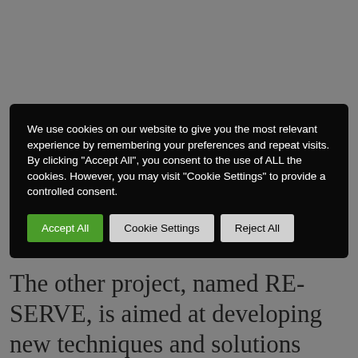[Figure (screenshot): Cookie consent banner with black background containing cookie notice text and three buttons: Accept All (green), Cookie Settings (grey), Reject All (grey)]
The other project, named RE-SERVE, is aimed at developing new techniques and solutions based on 5G technology to assist energy providers with balancing the voltage and